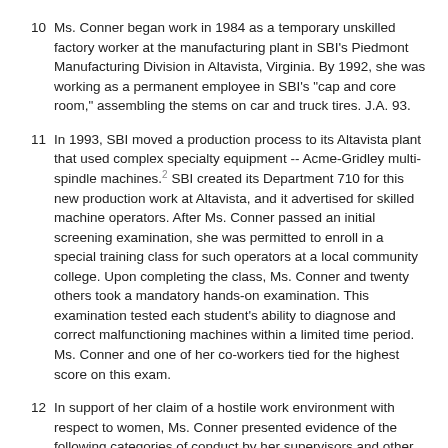Ms. Conner began work in 1984 as a temporary unskilled factory worker at the manufacturing plant in SBI's Piedmont Manufacturing Division in Altavista, Virginia. By 1992, she was working as a permanent employee in SBI's "cap and core room," assembling the stems on car and truck tires. J.A. 93.
In 1993, SBI moved a production process to its Altavista plant that used complex specialty equipment -- Acme-Gridley multi-spindle machines.2 SBI created its Department 710 for this new production work at Altavista, and it advertised for skilled machine operators. After Ms. Conner passed an initial screening examination, she was permitted to enroll in a special training class for such operators at a local community college. Upon completing the class, Ms. Conner and twenty others took a mandatory hands-on examination. This examination tested each student's ability to diagnose and correct malfunctioning machines within a limited time period. Ms. Conner and one of her co-workers tied for the highest score on this exam.
In support of her claim of a hostile work environment with respect to women, Ms. Conner presented evidence of the following categories of conduct by her supervisors and other authorized personnel: (1)